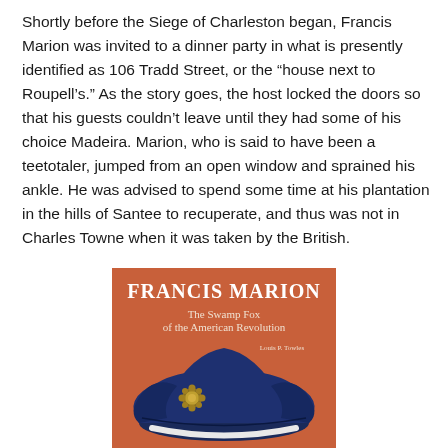Shortly before the Siege of Charleston began, Francis Marion was invited to a dinner party in what is presently identified as 106 Tradd Street, or the “house next to Roupell’s.” As the story goes, the host locked the doors so that his guests couldn’t leave until they had some of his choice Madeira. Marion, who is said to have been a teetotaler, jumped from an open window and sprained his ankle. He was advised to spend some time at his plantation in the hills of Santee to recuperate, and thus was not in Charles Towne when it was taken by the British.
[Figure (photo): Book cover of 'Francis Marion: The Swamp Fox of the American Revolution' by Louis P. Towles. Orange/red background with a blue tricorn hat featuring a gold rosette. White text for title and subtitle.]